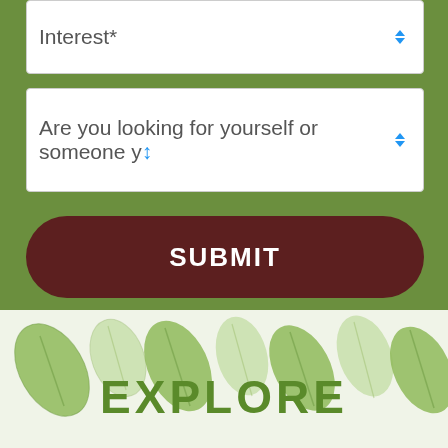[Figure (screenshot): Dropdown selector field with label 'Interest*' and a spinner/arrow control on the right side, on a green background]
[Figure (screenshot): Dropdown selector field with label 'Are you looking for yourself or someone y...' and a spinner/arrow control on the right side, on a green background]
[Figure (screenshot): Dark brown rounded submit button with text 'SUBMIT' in white capital letters]
[Figure (illustration): Decorative leaf pattern banner with light green leaf shapes arranged in a row across the width of the page]
EXPLORE